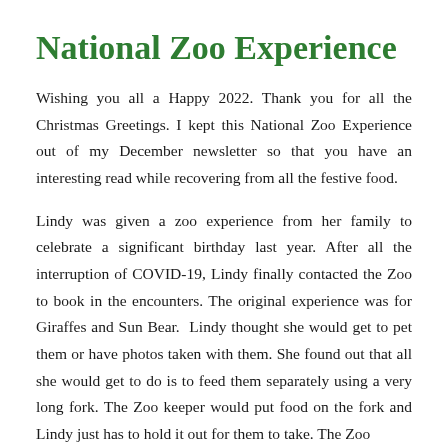National Zoo Experience
Wishing you all a Happy 2022. Thank you for all the Christmas Greetings. I kept this National Zoo Experience out of my December newsletter so that you have an interesting read while recovering from all the festive food.
Lindy was given a zoo experience from her family to celebrate a significant birthday last year. After all the interruption of COVID-19, Lindy finally contacted the Zoo to book in the encounters. The original experience was for Giraffes and Sun Bear. Lindy thought she would get to pet them or have photos taken with them. She found out that all she would get to do is to feed them separately using a very long fork. The Zoo keeper would put food on the fork and Lindy just has to hold it out for them to take. The Zoo